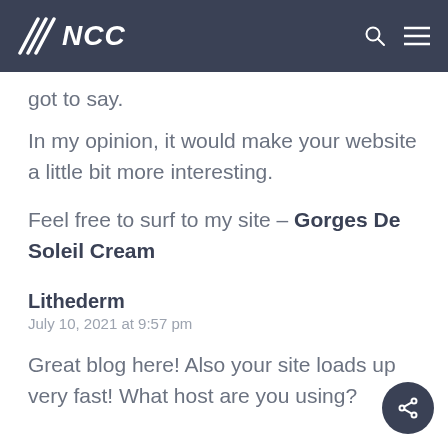NCC
got to say.
In my opinion, it would make your website a little bit more interesting.
Feel free to surf to my site – Gorges De Soleil Cream
Lithederm
July 10, 2021 at 9:57 pm
Great blog here! Also your site loads up very fast! What host are you using?